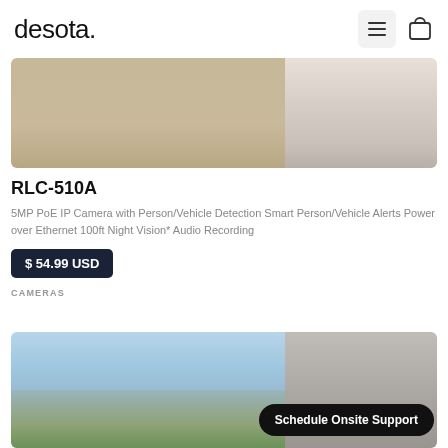desota
[Figure (photo): Product image showing tan/beige wood flooring texture on the left and light stone/marble texture on the right]
RLC-510A
5MP PoE IP Camera with Person/Vehicle Detection Smart Person/Vehicle Alerts Power over Ethernet 100ft Night Vision* Audio Recording
$ 54.99 USD
CAMERAS
[Figure (photo): Product image showing a modern home exterior with blue sky, blurred background, and gray color swatch on the right]
Schedule Onsite Support